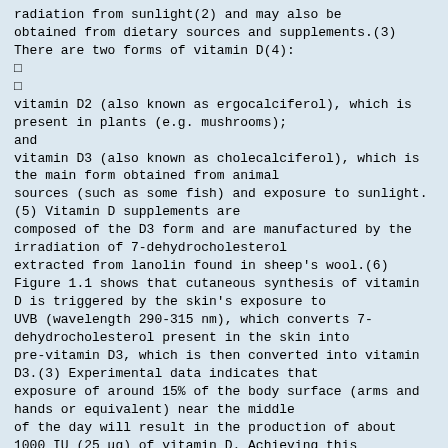radiation from sunlight(2) and may also be obtained from dietary sources and supplements.(3) There are two forms of vitamin D(4):
□
□
vitamin D2 (also known as ergocalciferol), which is present in plants (e.g. mushrooms);
and
vitamin D3 (also known as cholecalciferol), which is the main form obtained from animal sources (such as some fish) and exposure to sunlight.(5) Vitamin D supplements are composed of the D3 form and are manufactured by the irradiation of 7-dehydrocholesterol extracted from lanolin found in sheep's wool.(6) Figure 1.1 shows that cutaneous synthesis of vitamin D is triggered by the skin's exposure to UVB (wavelength 290-315 nm), which converts 7-dehydrocholesterol present in the skin into pre-vitamin D3, which is then converted into vitamin D3.(3) Experimental data indicates that exposure of around 15% of the body surface (arms and hands or equivalent) near the middle of the day will result in the production of about 1000 IU (25 μg) of vitamin D. Achieving this exposure on most days should generally, though not always, be sufficient to maintain vitamin D levels in the body.(7) Factors such as seasons and latitude can play a role in vitamin D synthesis, for example less vitamin D is synthesised in winter, particularly at latitudes further from the equator.
UVB Exposure and Vitamin D Positive Dose Reponse